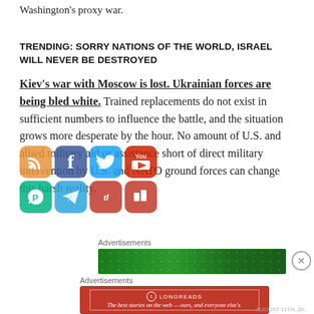Washington's proxy war.
TRENDING: SORRY NATIONS OF THE WORLD, ISRAEL WILL NEVER BE DESTROYED
Kiev's war with Moscow is lost. Ukrainian forces are being bled white. Trained replacements do not exist in sufficient numbers to influence the battle, and the situation grows more desperate by the hour. No amount of U.S. and allied military aid or assistance short of direct military intervention by U.S. and NATO ground forces can change this harsh reality.
[Figure (infographic): Social media sharing icons: RSS, Facebook, Twitter, YouTube, Pinterest/other, Telegram, Reddit, and other icons overlaid on the article text]
Advertisements
[Figure (other): Green advertisement banner with dotted white sparkle pattern]
Advertisements
[Figure (other): Longreads red advertisement banner: The best stories on the web — ours, and everyone else's.]